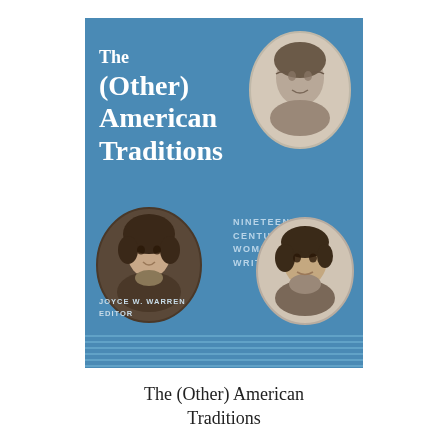[Figure (illustration): Book cover of 'The (Other) American Traditions: Nineteenth-Century Women Writers', edited by Joyce W. Warren. Blue cover with white bold title on the left, subtitle 'NINETEENTH-CENTURY WOMEN WRITERS' in smaller caps on the right center, three oval portrait photographs/illustrations of women, editor name at bottom left, and horizontal decorative lines at the bottom.]
The (Other) American Traditions